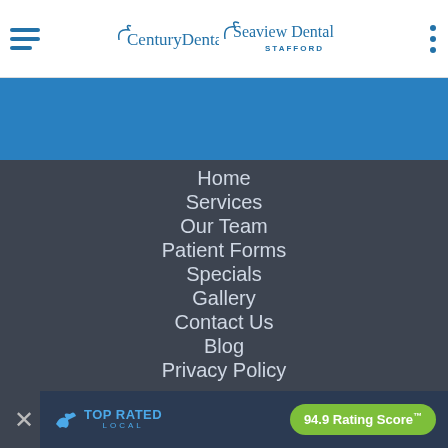Century Dental | Seaview Dental Stafford
[Figure (illustration): Blue band/hero area below header]
Home
Services
Our Team
Patient Forms
Specials
Gallery
Contact Us
Blog
Privacy Policy
TOP RATED LOCAL — 94.9 Rating Score™